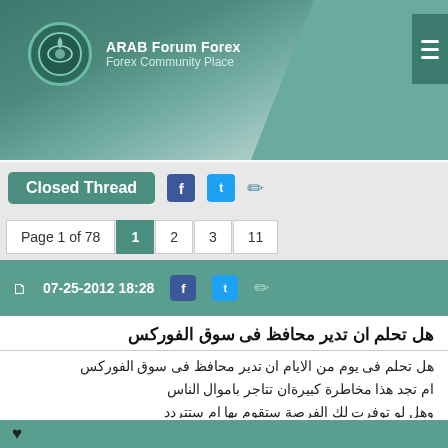ARAB Forum Forex
Forex Community Place
Closed Thread
Page 1 of 78  1  2  3  11
07-25-2012 18:28
هل تحلم ان تدير محافظ فى سوق الفوركس
هل تحلم فى يوم من الايام ان تدير محافظ فى سوق الفوركس
ام تجد هذا مخاطرة كبيرةان تتاجر باموال الناس
وهل لو توفرت لك الفرصة ستقوم بها ام ستتردد
Though trading on financial markets involves high risk, it can still c case you apply the right approach. By choosing a reliable broker s access to the international financial markets and open your way to independence. You can sign up here.